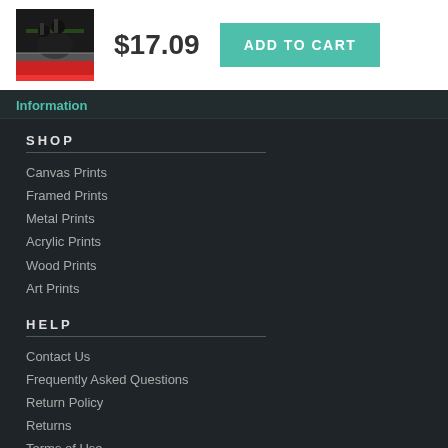[Figure (photo): Basketball game photo showing players on court]
$17.09
ADD TO CART
Information
SHOP
Canvas Prints
Framed Prints
Metal Prints
Acrylic Prints
Wood Prints
Art Prints
HELP
Contact Us
Frequently Asked Questions
Return Policy
Returns
Terms of Use
Privacy Policy
LOCATION SETTINGS